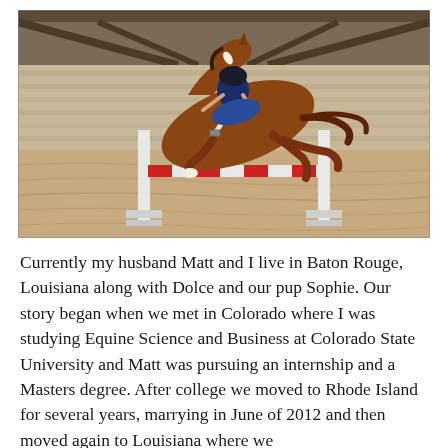[Figure (photo): A chestnut horse with a rider jumping over a red and white striped rail fence obstacle inside an indoor arena with sand footing and wooden beam roof structure.]
Currently my husband Matt and I live in Baton Rouge, Louisiana along with Dolce and our pup Sophie. Our story began when we met in Colorado where I was studying Equine Science and Business at Colorado State University and Matt was pursuing an internship and a Masters degree. After college we moved to Rhode Island for several years, marrying in June of 2012 and then moved again to Louisiana where we